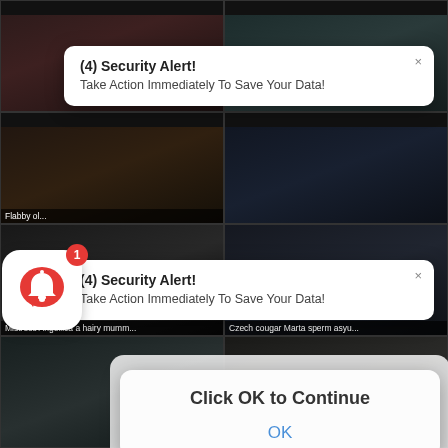[Figure (screenshot): Browser screenshot showing adult video website with multiple video thumbnails in a 2-column grid. Two browser notification popups appear overlaying the content, both reading '(4) Security Alert! Take Action Immediately To Save Your Data!' The second popup has a red notification bell icon with badge showing '1'. A dialog box overlays the bottom portion reading 'Click OK to Continue' with an 'OK' button. Video thumbnails include labels 'Flabby ol...', 'Mistress Angellica a hairy mumm...', 'Czech cougar Marta sperm asyu...', and two medical-themed thumbnails at bottom.]